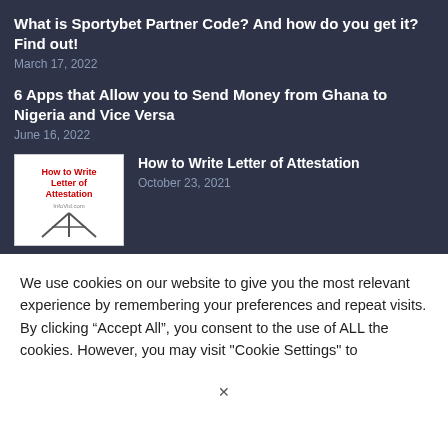What is Sportybet Partner Code? And how do you get it? Find out!
March 17, 2022
6 Apps that Allow you to Send Money from Ghana to Nigeria and Vice Versa
June 16, 2022
[Figure (photo): Thumbnail image for 'How to Write Letter of Attestation' showing the title text on an easel/whiteboard]
How to Write Letter of Attestation
October 23, 2021
We use cookies on our website to give you the most relevant experience by remembering your preferences and repeat visits. By clicking “Accept All”, you consent to the use of ALL the cookies. However, you may visit "Cookie Settings" to